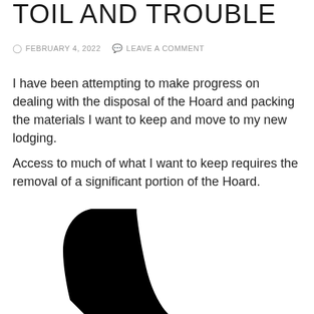TOIL AND TROUBLE
FEBRUARY 4, 2022   LEAVE A COMMENT
I have been attempting to make progress on dealing with the disposal of the Hoard and packing the materials I want to keep and move to my new lodging.
Access to much of what I want to keep requires the removal of a significant portion of the Hoard.
[Figure (photo): Partial view of a black silhouette shape, likely a large pile or stack of hoarded items, cropped at the bottom of the page.]